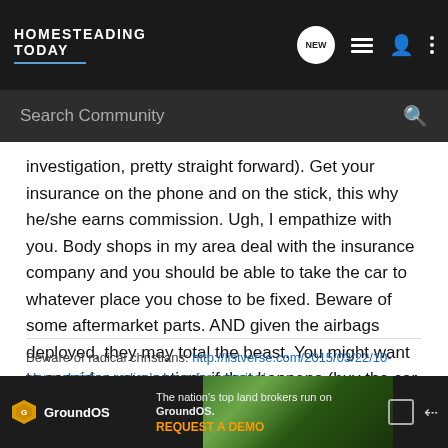HOMESTEADING TODAY
investigation, pretty straight forward). Get your insurance on the phone and on the stick, this why he/she earns commission. Ugh, I empathize with you. Body shops in my area deal with the insurance company and you should be able to take the car to whatever place you chose to be fixed. Beware of some aftermarket parts. AND given the airbags deployed, they may total the beast. You might want to consider your options if that happens (buy the car back and fix it etc.).
Beware of radical christians: http://listverse.com/2015/03/22/10-plans-christian-radicals-have-for-america/
[Figure (screenshot): GroundOS advertisement banner: 'The nation's top land brokers run on GroundOS. REQUEST A DEMO']